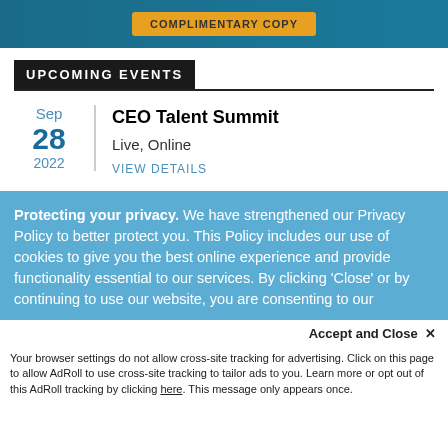[Figure (banner): Promotional banner with teal background and 'COMPLIMENTARY COPY' badge in orange/yellow]
UPCOMING EVENTS
Sep 28 2022
CEO Talent Summit
Live, Online
VIEW DETAILS
Protecting your privacy. We have strengthened our Privacy Policy to better protect you. This Policy includes our use of cookies to give you the best online experience and provide functionality essential to our services. By clicking 'Close' or by continuing to use our website, you are consenting to our
Accept and Close ✕
Your browser settings do not allow cross-site tracking for advertising. Click on this page to allow AdRoll to use cross-site tracking to tailor ads to you. Learn more or opt out of this AdRoll tracking by clicking here. This message only appears once.